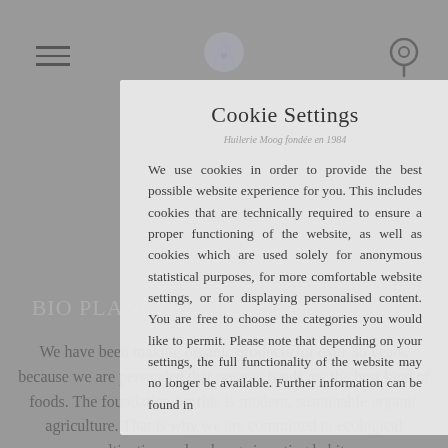[Figure (screenshot): Website background showing a gray page with hamburger menu icon top-left, location pin icon top-right, a logo/flame icon at top center, and background text including 'BIO PLANETE - our engagement for a' and body text about organic products]
Cookie Settings
Huilerie Moog fondée en 1984
We use cookies in order to provide the best possible website experience for you. This includes cookies that are technically required to ensure a proper functioning of the website, as well as cookies which are used solely for anonymous statistical purposes, for more comfortable website settings, or for displaying personalised content. You are free to choose the categories you would like to permit. Please note that depending on your settings, the full functionality of the website may no longer be available. Further information can be found in
We have been making organic products for over 35 years, because we are persuaded that organic foods are the best kind of foods. The foundation for this is modern, sustainable organic agriculture. That is why we are committed to ecological cultivation and a change in eating habits.